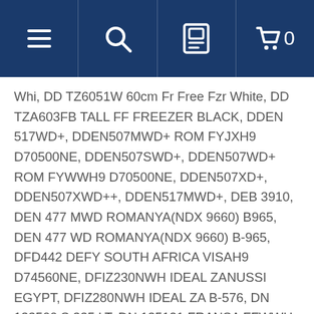[Navigation bar with hamburger menu, search, user, and cart icons]
Whi, DD TZ6051W 60cm Fr Free Fzr White, DD TZA603FB TALL FF FREEZER BLACK, DDEN 517WD+, DDEN507MWD+ ROM FYJXH9 D70500NE, DDEN507SWD+, DDEN507WD+ ROM FYWWH9 D70500NE, DDEN507XD+, DDEN507XWD++, DDEN517MWD+, DEB 3910, DEN 477 MWD ROMANYA(NDX 9660) B965, DEN 477 WD ROMANYA(NDX 9660) B-965, DFD442 DEFY SOUTH AFRICA VISAH9 D74560NE, DFIZ230NWH IDEAL ZANUSSI EGYPT, DFIZ280NWH IDEAL ZA B-576, DN 133500 S 335 LT, DN 135121 FRANSA FFWWH D60350N, DN 135121 X FRANSA FFSAH D60350N, DN 139100 1 ALG SKD FYWWH D60350N, DN 139110 M EU3 FYJXH D60350N, DN 139120 2 TUNUSIA, DN 139120 S 2 TUNUSIA, DN 148100 S 480 LT, DN 148100 SD 480 LT, DN 150220 D EU2 FYWWH9 D70500NE, DN 150220 DS